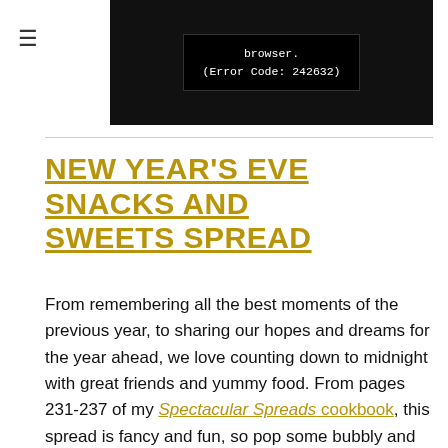[Figure (screenshot): A video player error message on a dark/black background showing text: 'browser. (Error Code: 242632)' with a hamburger menu icon on the left side]
NEW YEAR'S EVE SNACKS AND SWEETS SPREAD
From remembering all the best moments of the previous year, to sharing our hopes and dreams for the year ahead, we love counting down to midnight with great friends and yummy food. From pages 231-237 of my Spectacular Spreads cookbook, this spread is fancy and fun, so pop some bubbly and ring in the new year in delicious style.